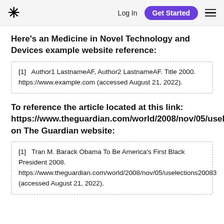* Log In Get Started ≡
Here's an Medicine in Novel Technology and Devices example website reference:
[1]   Author1 LastnameAF, Author2 LastnameAF. Title 2000. https://www.example.com (accessed August 21, 2022).
To reference the article located at this link: https://www.theguardian.com/world/2008/nov/05/uselec on The Guardian website:
[1]   Tran M. Barack Obama To Be America's First Black President 2008. https://www.theguardian.com/world/2008/nov/05/uselections20083 (accessed August 21, 2022).